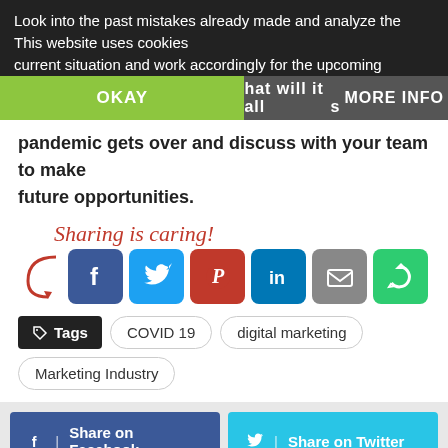Look into the past mistakes already made and analyze the current situation and work accordingly for the upcoming
This website uses cookies
hat will it all [...]s
OKAY
MORE INFO
pandemic gets over and discuss with your team to make future opportunities.
[Figure (infographic): Sharing is caring! text with arrow and social media icons: Facebook, Twitter, Pinterest, LinkedIn, Email, and a share/loop icon]
Tags: COVID 19, digital marketing, Marketing Industry
[Figure (infographic): Share bar with Share on Facebook, Share on Twitter buttons, and G+, Pinterest, +, and up arrow buttons]